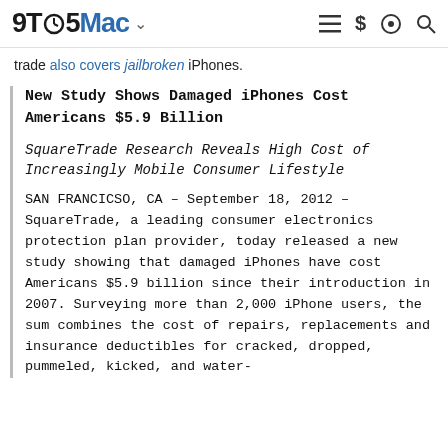9TO5Mac
trade also covers jailbroken iPhones.
New Study Shows Damaged iPhones Cost Americans $5.9 Billion
SquareTrade Research Reveals High Cost of Increasingly Mobile Consumer Lifestyle
SAN FRANCICSO, CA – September 18, 2012 – SquareTrade, a leading consumer electronics protection plan provider, today released a new study showing that damaged iPhones have cost Americans $5.9 billion since their introduction in 2007. Surveying more than 2,000 iPhone users, the sum combines the cost of repairs, replacements and insurance deductibles for cracked, dropped, pummeled, kicked, and water-